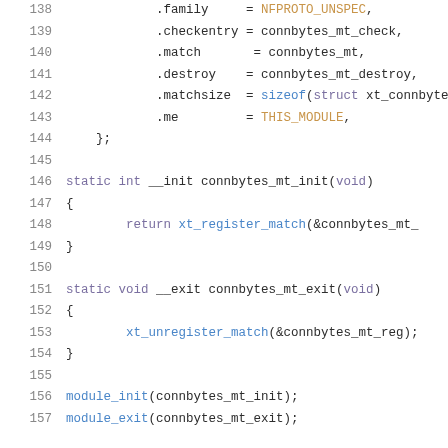[Figure (screenshot): Source code listing in C showing lines 138-157 of a Linux kernel netfilter module (connbytes match). Lines show struct field initializations (.family, .checkentry, .match, .destroy, .matchsize, .me), static init/exit functions, and module_init/module_exit macros.]